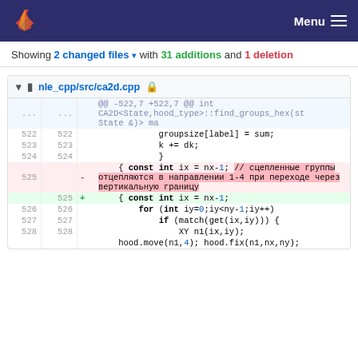Menu
Showing 2 changed files with 31 additions and 1 deletion
nle_cpp/src/ca2d.cpp
| old | new | op | code |
| --- | --- | --- | --- |
| ... | ... |  | @@ -522,7 +522,7 @@ int CA2D<State,hood_type>::find_groups_hex(st State &)> ma |
| 522 | 522 |  |             groupsize[label] = sum; |
| 523 | 523 |  |             k += dk; |
| 524 | 524 |  |             } |
| 525 |  | - |     { const int ix = nx-1; // сцепленные группы отцепляются в направлении 1-4 при переходе через вертикальную границу |
|  | 525 | + |     { const int ix = nx-1; |
| 526 | 526 |  |         for (int iy=0;iy<ny-1;iy++) |
| 527 | 527 |  |             if (match(get(ix,iy))) { |
| 528 | 528 |  |                 XY n1(ix,iy); |
|  |  |  |         hood.move(n1,4); hood.fix(n1,nx,ny); |